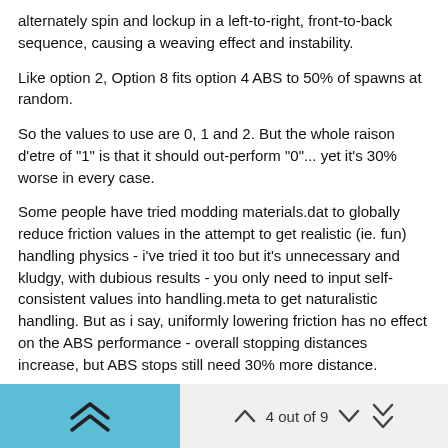alternately spin and lockup in a left-to-right, front-to-back sequence, causing a weaving effect and instability.
Like option 2, Option 8 fits option 4 ABS to 50% of spawns at random.
So the values to use are 0, 1 and 2. But the whole raison d'etre of "1" is that it should out-perform "0"... yet it's 30% worse in every case.
Some people have tried modding materials.dat to globally reduce friction values in the attempt to get realistic (ie. fun) handling physics - i've tried it too but it's unnecessary and kludgy, with dubious results - you only need to input self-consistent values into handling.meta to get naturalistic handling. But as i say, uniformly lowering friction has no effect on the ABS performance - overall stopping distances increase, but ABS stops still need 30% more distance.
So the only logical explanation seems to be that there MUST BE a "skidding friction" modifier in action when a moving wheel locks up. Because if it were simply the linear friction value, then lowering it enough would eventually give ABS the advantage.. yet it does not.
4 out of 9